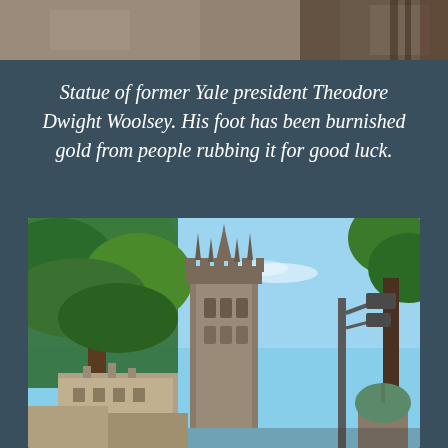[Figure (photo): Top portion of page showing a partial photograph - appears to be a statue or architectural detail at Yale]
Statue of former Yale president Theodore Dwight Woolsey. His foot has been burnished gold from people rubbing it for good luck.
[Figure (photo): Upward-looking view of Yale University's Harkness Tower, a Gothic Revival tower, with green trees on the left and a street lamp on the right, against a blue sky. A smaller green dome is visible at right.]